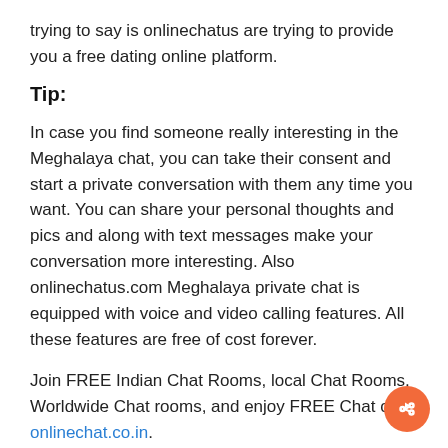trying to say is onlinechatus are trying to provide you a free dating online platform.
Tip:
In case you find someone really interesting in the Meghalaya chat, you can take their consent and start a private conversation with them any time you want. You can share your personal thoughts and pics and along with text messages make your conversation more interesting. Also onlinechatus.com Meghalaya private chat is equipped with voice and video calling features. All these features are free of cost forever.
Join FREE Indian Chat Rooms, local Chat Rooms, Worldwide Chat rooms, and enjoy FREE Chat on onlinechat.co.in.